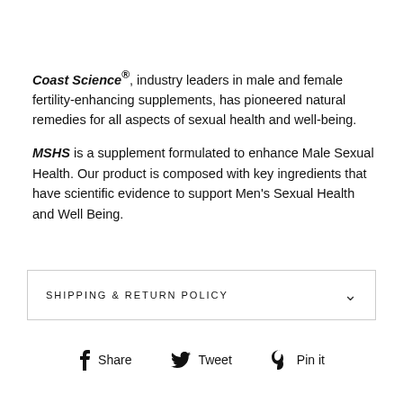Coast Science®, industry leaders in male and female fertility-enhancing supplements, has pioneered natural remedies for all aspects of sexual health and well-being.
MSHS is a supplement formulated to enhance Male Sexual Health. Our product is composed with key ingredients that have scientific evidence to support Men's Sexual Health and Well Being.
SHIPPING & RETURN POLICY
Share  Tweet  Pin it